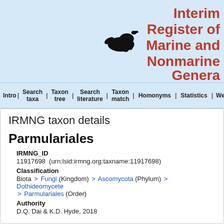[Figure (logo): IRMNG otter silhouette logo with text 'Interim Register of Marine and Nonmarine Genera' in dark red on light blue background]
Intro | Search taxa | Taxon tree | Search literature | Taxon match | Homonyms | Statistics | Webservice |
IRMNG taxon details
Parmulariales
IRMNG_ID
11917698  (urn:lsid:irmng.org:taxname:11917698)
Classification
Biota > Fungi (Kingdom) > Ascomycota (Phylum) > Dothideomycete > Parmulariales (Order)
Authority
D.Q. Dai & K.D. Hyde, 2018